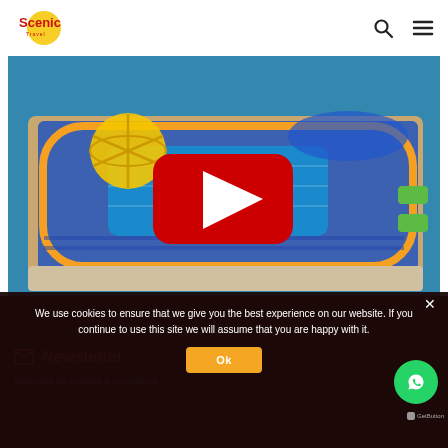Scenic Travel — navigation bar with search and menu icons
[Figure (screenshot): Aerial view of a cruise ship deck with blue pool area, yellow globe structure, orange running track, and YouTube play button overlay indicating a video thumbnail]
[Figure (screenshot): Cookie consent overlay with text: We use cookies to ensure that we give you the best experience on our website. If you continue to use this site we will assume that you are happy with it. Ok button.]
We use cookies to ensure that we give you the best experience on our website. If you continue to use this site we will assume that you are happy with it.
Ok
Newsletter
Subscribe for updates & promotions